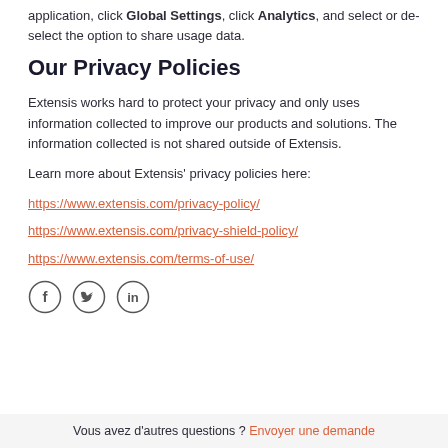application, click Global Settings, click Analytics, and select or de-select the option to share usage data.
Our Privacy Policies
Extensis works hard to protect your privacy and only uses information collected to improve our products and solutions. The information collected is not shared outside of Extensis.
Learn more about Extensis' privacy policies here:
https://www.extensis.com/privacy-policy/
https://www.extensis.com/privacy-shield-policy/
https://www.extensis.com/terms-of-use/
[Figure (illustration): Three social media icons in circles: Facebook (f), Twitter (bird), LinkedIn (in)]
Vous avez d'autres questions ? Envoyer une demande